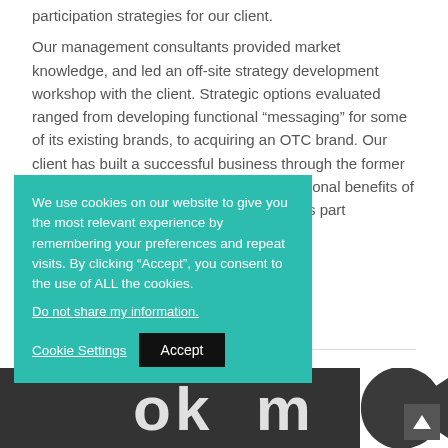participation strategies for our client.
Our management consultants provided market knowledge, and led an off-site strategy development workshop with the client. Strategic options evaluated ranged from developing functional “messaging” for some of its existing brands, to acquiring an OTC brand. Our client has built a successful business through the former strategy approach, by promoting the functional benefits of many of its products, to businesses and as part
We use cookies on our website to give you the most relevant experience by remembering your preferences and repeat visits. By clicking “Accept”, you consent to the use of ALL the cookies.
Do not share my information.
Cookie Settings  Accept
[Figure (logo): Dark footer bar with large white letters appearing to spell out logo text, with a partial letter 'e' visible in the bottom right corner area]